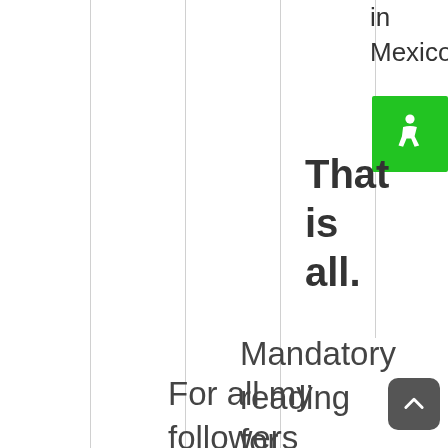in Mexico.
[Figure (illustration): Green accessibility/wheelchair icon badge]
That is all.
Mandatory reading for my followers.
For all my followers
[Figure (other): Dark grey scroll-to-top button with upward chevron arrow]